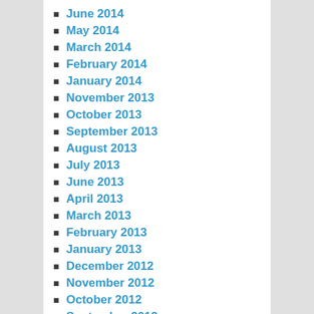June 2014
May 2014
March 2014
February 2014
January 2014
November 2013
October 2013
September 2013
August 2013
July 2013
June 2013
April 2013
March 2013
February 2013
January 2013
December 2012
November 2012
October 2012
September 2012
July 2012
June 2012